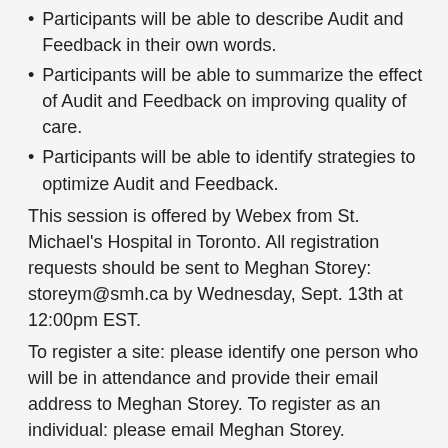Participants will be able to describe Audit and Feedback in their own words.
Participants will be able to summarize the effect of Audit and Feedback on improving quality of care.
Participants will be able to identify strategies to optimize Audit and Feedback.
This session is offered by Webex from St. Michael's Hospital in Toronto. All registration requests should be sent to Meghan Storey: storeym@smh.ca by Wednesday, Sept. 13th at 12:00pm EST.
To register a site: please identify one person who will be in attendance and provide their email address to Meghan Storey. To register as an individual: please email Meghan Storey.
Please note that everyone must register to attend, as you need to be invited into the Webex session.